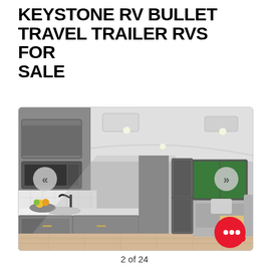KEYSTONE RV BULLET TRAVEL TRAILER RVS FOR SALE
[Figure (photo): Interior photo of a Keystone RV Bullet travel trailer showing kitchen area with gray cabinets, microwave, sink with dark faucet, white countertops, and living area with light wood flooring, gray sofa with pillow, and windows with a view of green landscape. Navigation arrows visible on left and right sides, and a red chat button in lower right corner.]
2 of 24